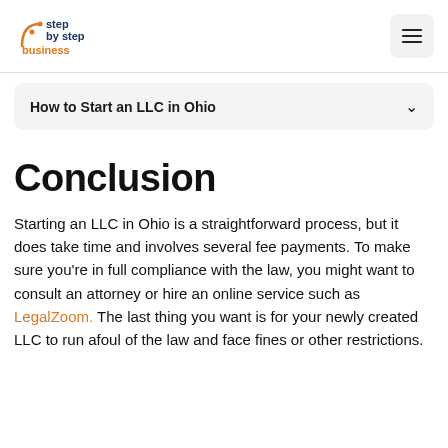step by step business
How to Start an LLC in Ohio
Conclusion
Starting an LLC in Ohio is a straightforward process, but it does take time and involves several fee payments. To make sure you're in full compliance with the law, you might want to consult an attorney or hire an online service such as LegalZoom. The last thing you want is for your newly created LLC to run afoul of the law and face fines or other restrictions.